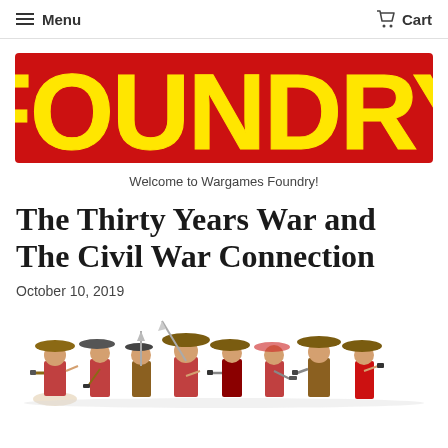Menu  Cart
[Figure (logo): FOUNDRY logo in large yellow block letters with red outline/shadow background]
Welcome to Wargames Foundry!
The Thirty Years War and The Civil War Connection
October 10, 2019
[Figure (illustration): Painted miniature soldiers in 17th century attire — pikemen and musketeers with hats, swords, and firearms in various posed positions]